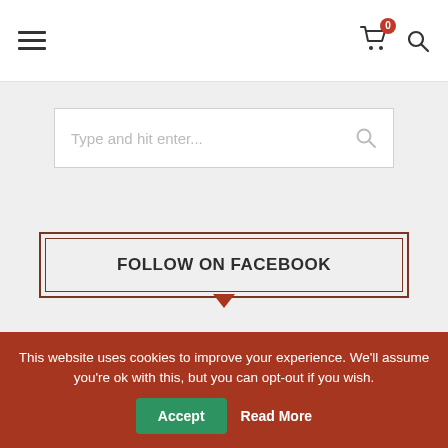Navigation bar with hamburger menu, cart icon with badge 0, and search icon
[Figure (screenshot): Search input box with placeholder text 'Type and hit enter...' and a search magnifier icon on the right]
[Figure (other): Follow on Facebook button with double border frame and downward chevron below]
[Figure (other): Keep in Touch section header with double border frame]
This website uses cookies to improve your experience. We'll assume you're ok with this, but you can opt-out if you wish. Accept Read More